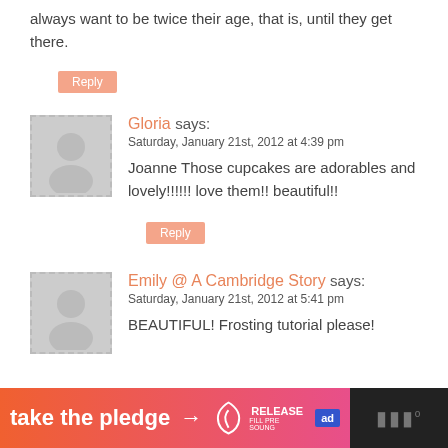always want to be twice their age, that is, until they get there.
Reply
Gloria says:
Saturday, January 21st, 2012 at 4:39 pm
Joanne Those cupcakes are adorables and lovely!!!!!! love them!! beautiful!!
Reply
Emily @ A Cambridge Story says:
Saturday, January 21st, 2012 at 5:41 pm
BEAUTIFUL! Frosting tutorial please!
[Figure (infographic): Banner ad at the bottom: orange-to-pink gradient with 'take the pledge' text and arrow, Release logo, ed badge, dark right side with dots icon]